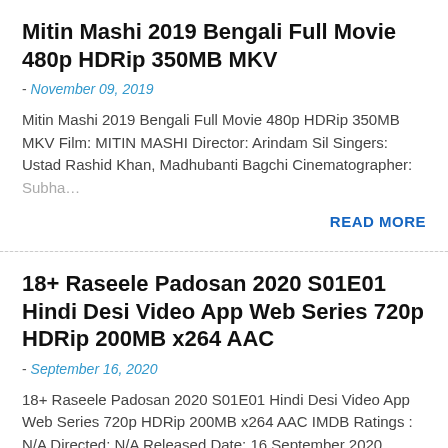Mitin Mashi 2019 Bengali Full Movie 480p HDRip 350MB MKV
- November 09, 2019
Mitin Mashi 2019 Bengali Full Movie 480p HDRip 350MB MKV Film: MITIN MASHI Director: Arindam Sil Singers: Ustad Rashid Khan, Madhubanti Bagchi Cinematographer: Subha…
READ MORE
18+ Raseele Padosan 2020 S01E01 Hindi Desi Video App Web Series 720p HDRip 200MB x264 AAC
- September 16, 2020
18+ Raseele Padosan 2020 S01E01 Hindi Desi Video App Web Series 720p HDRip 200MB x264 AAC IMDB Ratings : N/A Directed: N/A Released Date: 16 September 2020 Genres: …